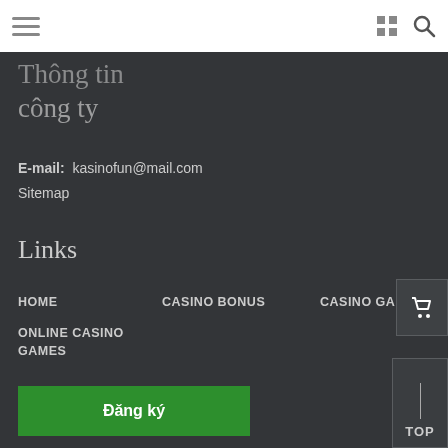Navigation bar with hamburger menu, grid icon, and search icon
Thông tin công ty
E-mail: kasinofun@mail.com
Sitemap
Links
HOME
CASINO BONUS
CASINO GAMES
ONLINE CASINO GAMES
Đăng ký